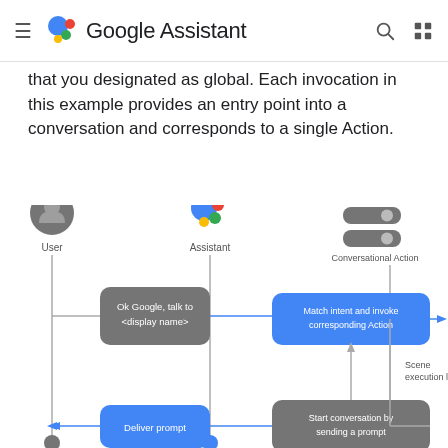Google Assistant
that you designated as global. Each invocation in this example provides an entry point into a conversation and corresponds to a single Action.
[Figure (flowchart): Sequence diagram showing interaction between User, Assistant, and Conversational Action. User sends 'Ok Google, talk to <display name>' to Assistant, which matches intent and invokes corresponding Action. A scene execution loop runs between Assistant nodes. Assistant starts conversation by sending a prompt, which delivers a prompt back to User.]